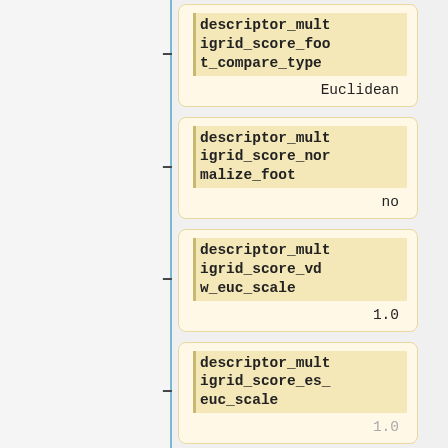descriptor_multigrid_score_foot_compare_type
Euclidean
descriptor_multigrid_score_normalize_foot
no
descriptor_multigrid_score_vdw_euc_scale
1.0
descriptor_multigrid_score_es_euc_scale
1.0